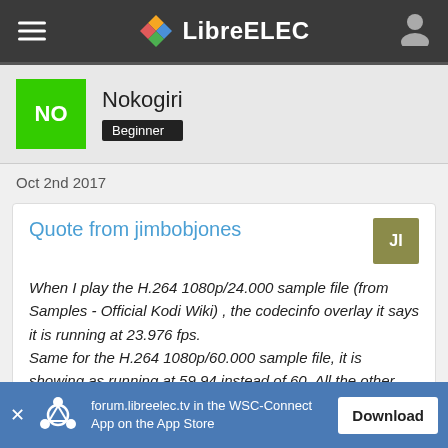LibreELEC
Nokogiri
Beginner
Oct 2nd 2017
Quote from jimbobjones
When I play the H.264 1080p/24.000 sample file (from Samples - Official Kodi Wiki) , the codecinfo overlay it says it is running at 23.976 fps.
Same for the H.264 1080p/60.000 sample file, it is showing as running at 59.94 instead of 60. All the other samples play correctly.
forum.libreelec.tv in the WSC-Connect App on the App Store Download